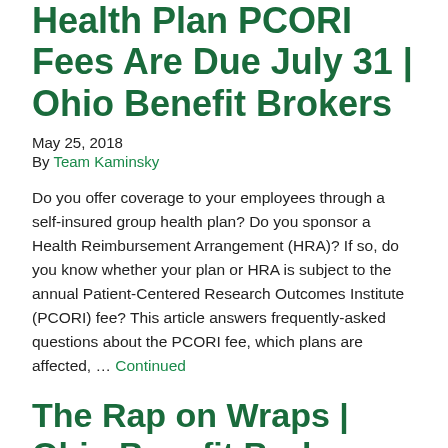Health Plan PCORI Fees Are Due July 31 | Ohio Benefit Brokers
May 25, 2018
By Team Kaminsky
Do you offer coverage to your employees through a self-insured group health plan? Do you sponsor a Health Reimbursement Arrangement (HRA)? If so, do you know whether your plan or HRA is subject to the annual Patient-Centered Research Outcomes Institute (PCORI) fee? This article answers frequently-asked questions about the PCORI fee, which plans are affected, … Continued
The Rap on Wraps | Ohio Benefit Brokers